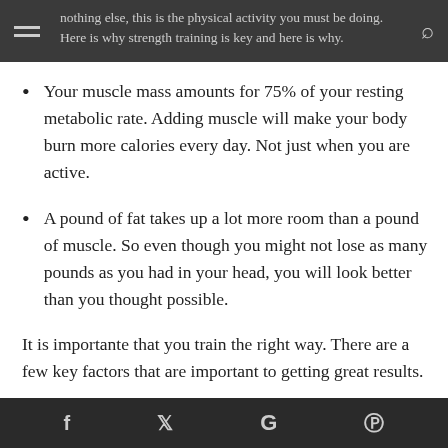nothing else, this is the physical activity you must be doing. Here is why strength training is key and here is why.
Your muscle mass amounts for 75% of your resting metabolic rate. Adding muscle will make your body burn more calories every day. Not just when you are active.
A pound of fat takes up a lot more room than a pound of muscle. So even though you might not lose as many pounds as you had in your head, you will look better than you thought possible.
It is importante that you train the right way. There are a few key factors that are important to getting great results.
Progressive overload. Make sure you are adding more
f  y  G  ℗